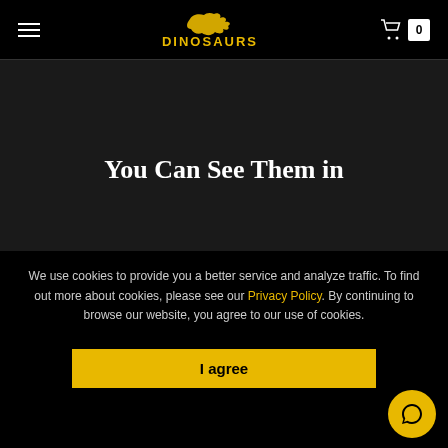DINOSAURS
You Can See Them in
Theme Parks
TV Shows
We use cookies to provide you a better service and analyze traffic. To find out more about cookies, please see our Privacy Policy. By continuing to browse our website, you agree to our use of cookies.